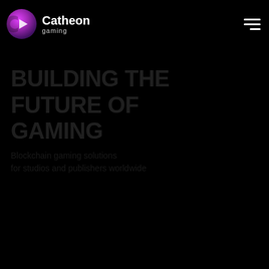[Figure (logo): Catheon Gaming logo: circular gradient icon (pink/purple) with a play-button shape, beside the text 'Catheon' in bold white and 'gaming' in smaller grey beneath]
[Figure (illustration): Hamburger menu icon: three horizontal white lines (top two full width, bottom one shorter) on black background, top right corner]
[Figure (screenshot): Dark/black background webpage screenshot with very faint large bold text and background imagery, mostly obscured by darkness]